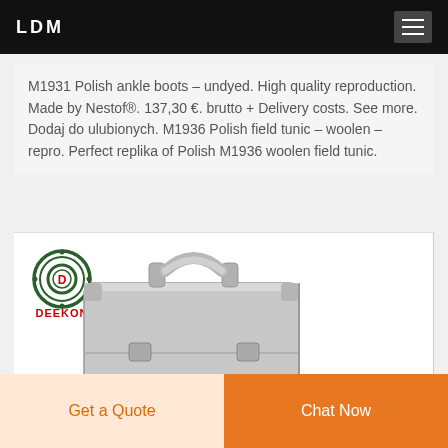LDM
M1931 Polish ankle boots – undyed. High quality reproduction. Made by Nestof®. 137,30 €. brutto + Delivery costs. See more. Dodaj do ulubionych. M1936 Polish field tunic – woolen – repro. Perfect replika of Polish M1936 woolen field tunic.
[Figure (photo): A silver aluminum briefcase/attache case with handle, shown with a DEEKON brand logo (circular target-like emblem with 'D' in center and red 'DEEKON' text below) in the upper left of the image.]
Get a Quote   Chat Now